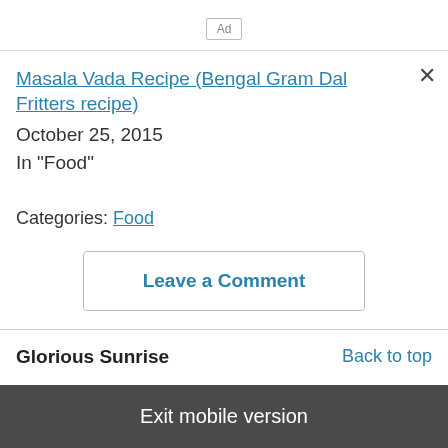[Figure (other): Ad placeholder box with label 'Ad']
Masala Vada Recipe (Bengal Gram Dal Fritters recipe)
October 25, 2015
In "Food"
Categories: Food
Leave a Comment
Glorious Sunrise
Back to top
Exit mobile version